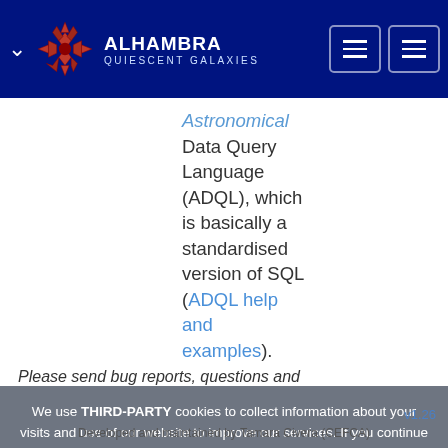ALHAMBRA QUIESCENT GALAXIES
Astronomical Data Query Language (ADQL), which is basically a standardised version of SQL (ADQL help and examples).
Please send bug reports, questions and
We use THIRD-PARTY cookies to collect information about your visits and use of our website to improve our services. If you continue browsing we consider you accept its use. More information here. Ok
v1.26
Developed and maintained by Tamara Civera (CEFCA)